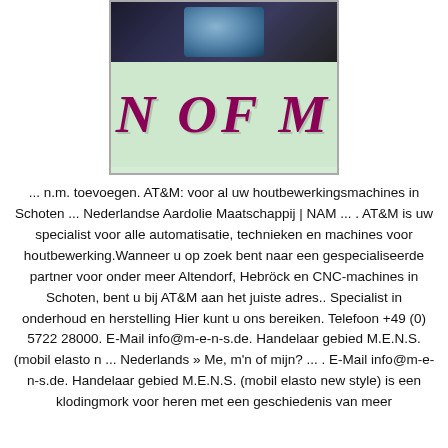[Figure (logo): Logo image showing 'N OF M' in large dark magenta/purple italic letters on a green speckled background, with a dark photographic image at the top]
... n.m. toevoegen. AT&M: voor al uw houtbewerkingsmachines in Schoten ... Nederlandse Aardolie Maatschappij | NAM ... . AT&M is uw specialist voor alle automatisatie, technieken en machines voor houtbewerking.Wanneer u op zoek bent naar een gespecialiseerde partner voor onder meer Altendorf, Hebröck en CNC-machines in Schoten, bent u bij AT&M aan het juiste adres.. Specialist in onderhoud en herstelling Hier kunt u ons bereiken. Telefoon +49 (0) 5722 28000. E-Mail info@m-e-n-s.de. Handelaar gebied M.E.N.S. (mobil elasto n ... Nederlands » Me, m'n of mijn? ... . E-Mail info@m-e-n-s.de. Handelaar gebied M.E.N.S. (mobil elasto new style) is een klodingmork voor heren met een geschiedenis van meer